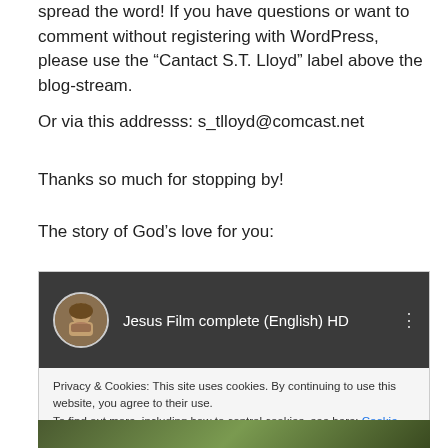spread the word! If you have questions or want to comment without registering with WordPress, please use the “Cantact S.T. Lloyd” label above the blog-stream.
Or via this addresss: s_tlloyd@comcast.net
Thanks so much for stopping by!
The story of God’s love for you:
[Figure (screenshot): YouTube video embed thumbnail showing 'Jesus Film complete (English) HD' with a bearded man avatar icon and dark cinematic background]
Privacy & Cookies: This site uses cookies. By continuing to use this website, you agree to their use.
To find out more, including how to control cookies, see here: Cookie Policy
Close and accept